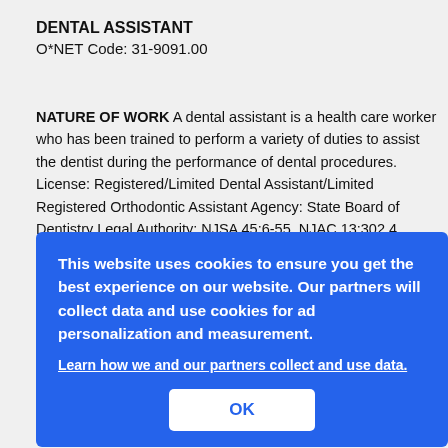DENTAL ASSISTANT
O*NET Code: 31-9091.00
NATURE OF WORK A dental assistant is a health care worker who has been trained to perform a variety of duties to assist the dentist during the performance of dental procedures. License: Registered/Limited Dental Assistant/Limited Registered Orthodontic Assistant Agency: State Board of Dentistry Legal Authority: NJSA 45:6-55, NJAC 13:302.4, NJAC [partially obscured] ...ctory ...y the ...d at ...r ...ul ... the ... the ... high application for registration.
This website uses cookies to ensure you get the best experience on our website. Our partners will collect data and use cookies for ad personalization and measurement.
Learn how we and our partners collect and use data.
OK